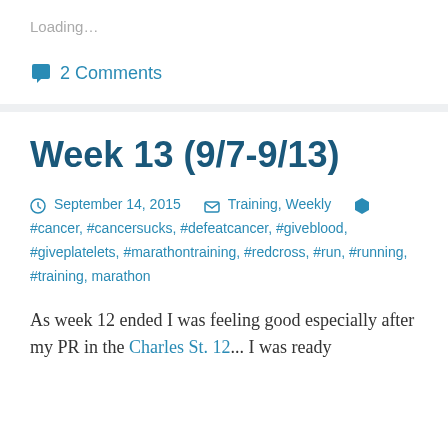Loading...
2 Comments
Week 13 (9/7-9/13)
September 14, 2015  Training, Weekly  #cancer, #cancersucks, #defeatcancer, #giveblood, #giveplatelets, #marathontraining, #redcross, #run, #running, #training, marathon
As week 12 ended I was feeling good especially after my PR in the Charles St. 12... I was ready